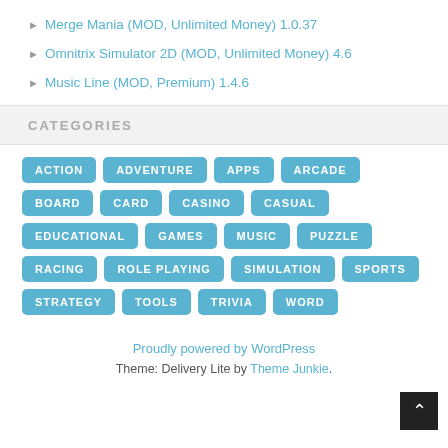Merge Mania (MOD, Unlimited Money) 1.0.37
Omnitrix Simulator 2D (MOD, Unlimited Money) 4.6
Music Line (MOD, Premium) 1.4.6
CATEGORIES
ACTION ADVENTURE APPS ARCADE BOARD CARD CASINO CASUAL EDUCATIONAL GAMES MUSIC PUZZLE RACING ROLE PLAYING SIMULATION SPORTS STRATEGY TOOLS TRIVIA WORD
Proudly powered by WordPress
Theme: Delivery Lite by Theme Junkie.